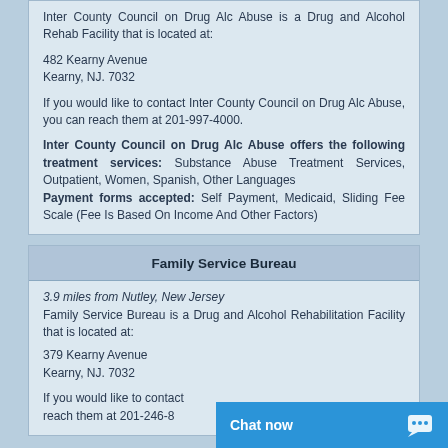Inter County Council on Drug Alc Abuse is a Drug and Alcohol Rehab Facility that is located at:
482 Kearny Avenue
Kearny, NJ. 7032
If you would like to contact Inter County Council on Drug Alc Abuse, you can reach them at 201-997-4000.
Inter County Council on Drug Alc Abuse offers the following treatment services: Substance Abuse Treatment Services, Outpatient, Women, Spanish, Other Languages
Payment forms accepted: Self Payment, Medicaid, Sliding Fee Scale (Fee Is Based On Income And Other Factors)
Family Service Bureau
3.9 miles from Nutley, New Jersey
Family Service Bureau is a Drug and Alcohol Rehabilitation Facility that is located at:
379 Kearny Avenue
Kearny, NJ. 7032
If you would like to contact reach them at 201-246-8...